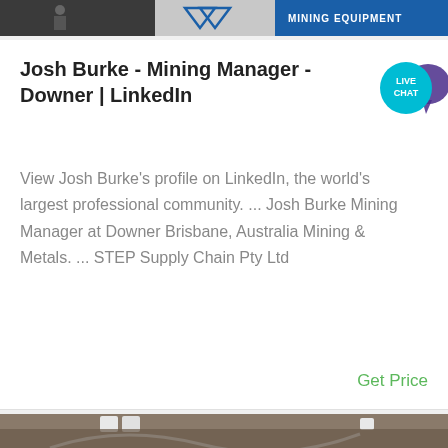[Figure (screenshot): Top banner image showing mining equipment branding with logo and text 'MINING EQUIPMENT' on blue background]
Josh Burke - Mining Manager - Downer | LinkedIn
View Josh Burke's profile on LinkedIn, the world's largest professional community. ... Josh Burke Mining Manager at Downer Brisbane, Australia Mining & Metals. ... STEP Supply Chain Pty Ltd
Get Price
[Figure (photo): Photo of mining or industrial equipment, appears to show curved metal structures or chutes in an industrial building with lights visible]